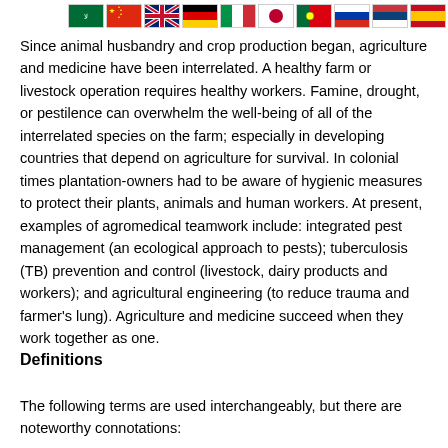[Figure (illustration): Row of country flags: Saudi Arabia, China, UK, Germany, Italy, Japan, Portugal, Russia, Serbia, Spain, Kenya]
Since animal husbandry and crop production began, agriculture and medicine have been interrelated. A healthy farm or livestock operation requires healthy workers. Famine, drought, or pestilence can overwhelm the well-being of all of the interrelated species on the farm; especially in developing countries that depend on agriculture for survival. In colonial times plantation-owners had to be aware of hygienic measures to protect their plants, animals and human workers. At present, examples of agromedical teamwork include: integrated pest management (an ecological approach to pests); tuberculosis (TB) prevention and control (livestock, dairy products and workers); and agricultural engineering (to reduce trauma and farmer's lung). Agriculture and medicine succeed when they work together as one.
Definitions
The following terms are used interchangeably, but there are noteworthy connotations: